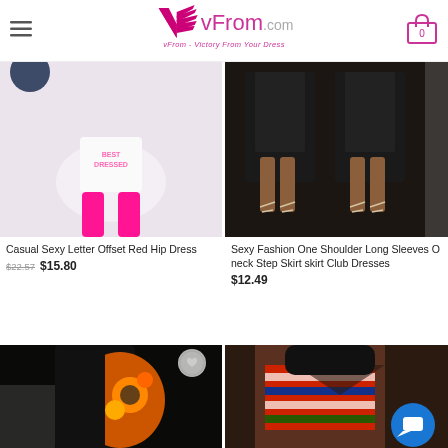vFrom.com — vFrom - Victory From Your Dress
[Figure (photo): Fashion model wearing white tulle mini skirt with 'BEST DRESSED' text and hot pink thigh-high boots]
[Figure (photo): Two models wearing black asymmetric long-sleeve dresses with lace-up sandals]
Casual Sexy Letter Offset Red Hip Dress
$22.57  $15.80
Sexy Fashion One Shoulder Long Sleeves O neck Step Skirt skirt Club Dresses
$12.49
[Figure (photo): Model wearing black and orange African print bodycon dress outdoors]
[Figure (photo): Model wearing red and blue striped wrap top/dress]